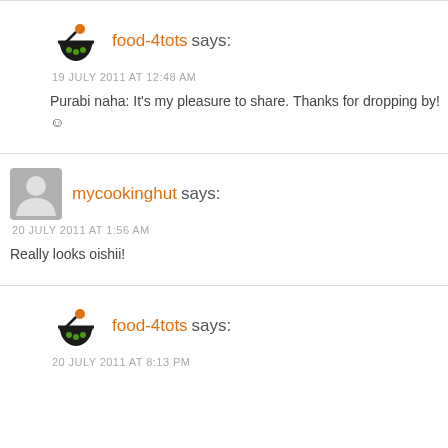food-4tots says:
19 JULY 2011 AT 12:48 AM
Purabi naha: It's my pleasure to share. Thanks for dropping by! ☺
mycookinghut says:
20 JULY 2011 AT 1:56 AM
Really looks oishii!
food-4tots says:
20 JULY 2011 AT 8:13 PM